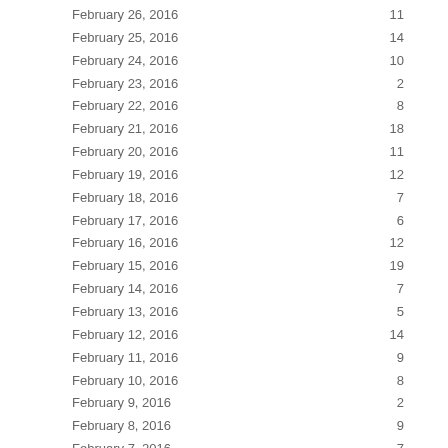| Date | Value |
| --- | --- |
| February 26, 2016 | 11 |
| February 25, 2016 | 14 |
| February 24, 2016 | 10 |
| February 23, 2016 | 2 |
| February 22, 2016 | 8 |
| February 21, 2016 | 18 |
| February 20, 2016 | 11 |
| February 19, 2016 | 12 |
| February 18, 2016 | 7 |
| February 17, 2016 | 6 |
| February 16, 2016 | 12 |
| February 15, 2016 | 19 |
| February 14, 2016 | 7 |
| February 13, 2016 | 5 |
| February 12, 2016 | 14 |
| February 11, 2016 | 9 |
| February 10, 2016 | 8 |
| February 9, 2016 | 2 |
| February 8, 2016 | 9 |
| February 7, 2016 | 7 |
| February 6, 2016 | 11 |
| February 5, 2016 | 19 |
| February 4, 2016 | 14 |